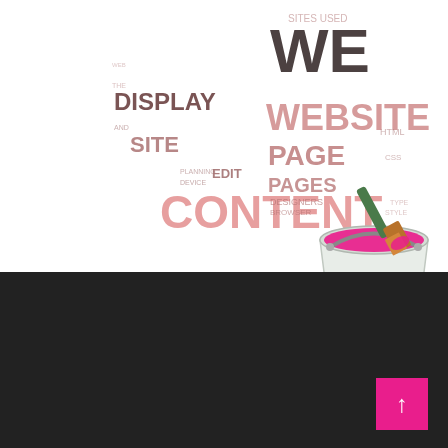[Figure (illustration): Word cloud with web design related terms: DESIGN, WE, WEBSITE, CONTENT, PAGE, PAGES, DISPLAY, SITE, SITES USED, EDIT, BROWSER, DESIGNERS, and other smaller terms. Colors range from dark reddish-brown to light pink.]
[Figure (illustration): 3D paint bucket filled with magenta/pink paint with a paintbrush resting on top, paint dripping down the side onto a pink puddle, positioned overlapping the white and dark sections.]
Resources
→ Terms and Conditions